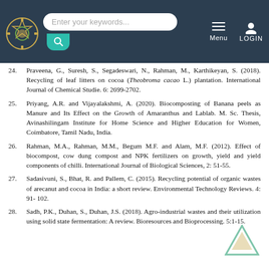Website header with logo, search bar, menu, and login
24. Praveena, G., Suresh, S., Segadeswari, N., Rahman, M., Karthikeyan, S. (2018). Recycling of leaf litters on cocoa (Theobroma cacao L.) plantation. International Journal of Chemical Studie. 6: 2699-2702.
25. Priyang, A.R. and Vijayalakshmi, A. (2020). Biocomposting of Banana peels as Manure and Its Effect on the Growth of Amaranthus and Lablab. M. Sc. Thesis, Avinashilingam Institute for Home Science and Higher Education for Women, Coimbatore, Tamil Nadu, India.
26. Rahman, M.A., Rahman, M.M., Begum M.F. and Alam, M.F. (2012). Effect of biocompost, cow dung compost and NPK fertilizers on growth, yield and yield components of chilli. International Journal of Biological Sciences, 2: 51-55.
27. Sadasivuni, S., Bhat, R. and Pallem, C. (2015). Recycling potential of organic wastes of arecanut and cocoa in India: a short review. Environmental Technology Reviews. 4: 91-102.
28. Sadh, P.K., Duhan, S., Duhan, J.S. (2018). Agro-industrial wastes and their utilization using solid state fermentation: A review. Bioresources and Bioprocessing. 5:1-15.